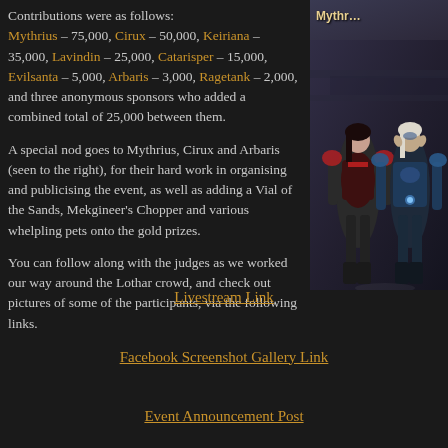Contributions were as follows: Mythrius – 75,000, Cirux – 50,000, Keiriana – 35,000, Lavindin – 25,000, Catarisper – 15,000, Evilsanta – 5,000, Arbaris – 3,000, Ragetank – 2,000, and three anonymous sponsors who added a combined total of 25,000 between them.
[Figure (screenshot): Game screenshot showing two characters labeled Mythr... and Arbaris standing in a stone corridor, wearing fantasy armor.]
A special nod goes to Mythrius, Cirux and Arbaris (seen to the right), for their hard work in organising and publicising the event, as well as adding a Vial of the Sands, Mekgineer's Chopper and various whelpling pets onto the gold prizes.
You can follow along with the judges as we worked our way around the Lothar crowd, and check out pictures of some of the participants, via the following links.
Livestream Link
Facebook Screenshot Gallery Link
Event Announcement Post